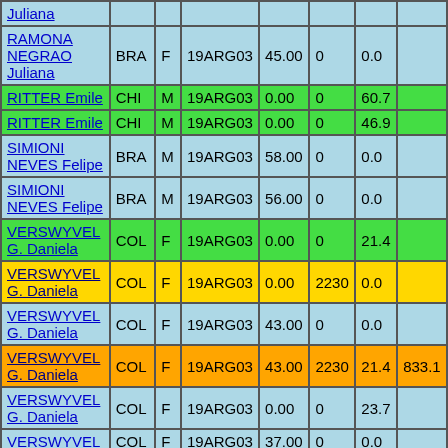| Name | Country | Sex | Event | Score | Col6 | Col7 | Col8 |
| --- | --- | --- | --- | --- | --- | --- | --- |
| Juliana |  |  |  |  |  |  |  |
| RAMONA NEGRAO Juliana | BRA | F | 19ARG03 | 45.00 | 0 | 0.0 |  |
| RITTER Emile | CHI | M | 19ARG03 | 0.00 | 0 | 60.7 |  |
| RITTER Emile | CHI | M | 19ARG03 | 0.00 | 0 | 46.9 |  |
| SIMIONI NEVES Felipe | BRA | M | 19ARG03 | 58.00 | 0 | 0.0 |  |
| SIMIONI NEVES Felipe | BRA | M | 19ARG03 | 56.00 | 0 | 0.0 |  |
| VERSWYVEL G. Daniela | COL | F | 19ARG03 | 0.00 | 0 | 21.4 |  |
| VERSWYVEL G. Daniela | COL | F | 19ARG03 | 0.00 | 2230 | 0.0 |  |
| VERSWYVEL G. Daniela | COL | F | 19ARG03 | 43.00 | 0 | 0.0 |  |
| VERSWYVEL G. Daniela | COL | F | 19ARG03 | 43.00 | 2230 | 21.4 | 833.1 |
| VERSWYVEL G. Daniela | COL | F | 19ARG03 | 0.00 | 0 | 23.7 |  |
| VERSWYVEL | COL | F | 19ARG03 | 37.00 | 0 | 0.0 |  |